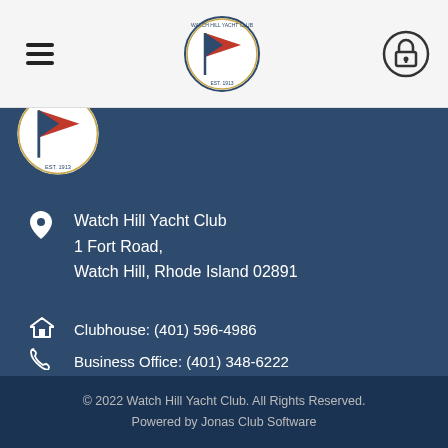[Figure (logo): Watch Hill Yacht Club circular logo with pennant flag, centered in top navigation bar]
[Figure (logo): Partial Watch Hill Yacht Club circular logo visible at top of dark blue section, showing EST. 1913]
Watch Hill Yacht Club
1 Fort Road,
Watch Hill, Rhode Island 02891
Clubhouse: (401) 596-4986
Business Office: (401) 348-6222
Cabanas: (401) 596-9350
whyc1913@whyc.net
© 2022  Watch Hill Yacht Club. All Rights Reserved.
Powered by Jonas Club Software